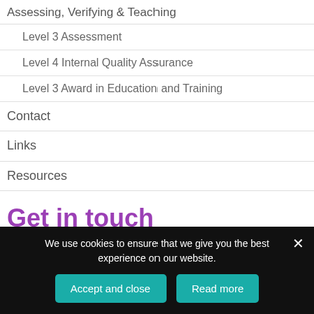Assessing, Verifying & Teaching
Level 3 Assessment
Level 4 Internal Quality Assurance
Level 3 Award in Education and Training
Contact
Links
Resources
Get in touch
Name *
We use cookies to ensure that we give you the best experience on our website.
Accept and close
Read more